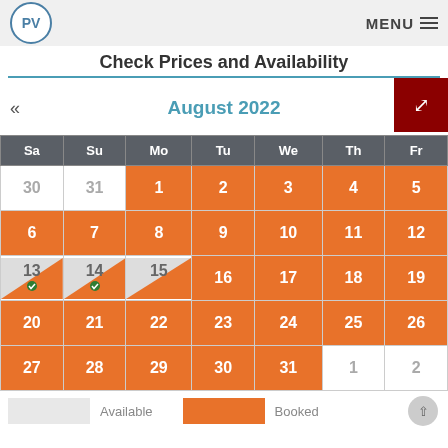PV | MENU
Check Prices and Availability
[Figure (other): Calendar showing August 2022 availability. Days 1-12 and 16-31 in orange (booked). Days 13 and 14 shown with diagonal split (partially available). Days 30, 31, 1, 2 (non-August) are greyed out. Green checkmarks on 13 and 14.]
Available | Booked